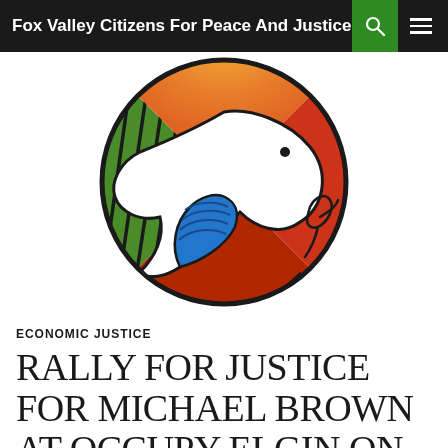Fox Valley Citizens For Peace And Justice
[Figure (logo): Circular logo with a stylized white dove in the center. The background circle is divided into sections of color: green with dark stripe patterns on the left, orange/red gradient on the upper right, and bright red on the right. The dove has blue wing feathers. A decorative cursive letter or leaf design appears on the lower right in black. The bottom of the circle has black mountain/wave shapes.]
ECONOMIC JUSTICE
RALLY FOR JUSTICE FOR MICHAEL BROWN AT OCCUPY ELGIN ON